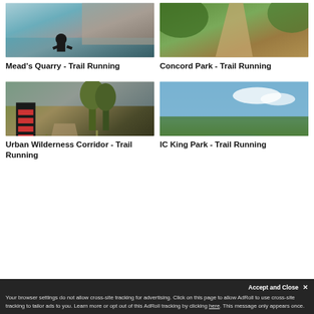[Figure (photo): Person crouching by a green water body with a rock cliff in background]
Mead's Quarry - Trail Running
[Figure (photo): Dirt trail winding through dense green vegetation]
Concord Park - Trail Running
[Figure (photo): Trail marker sign along a dirt path through tall grasses and trees]
Urban Wilderness Corridor - Trail Running
[Figure (photo): Grassy riverbank with a calm water body and trees under a partly cloudy sky]
IC King Park - Trail Running
Accept and Close ✕
Your browser settings do not allow cross-site tracking for advertising. Click on this page to allow AdRoll to use cross-site tracking to tailor ads to you. Learn more or opt out of this AdRoll tracking by clicking here. This message only appears once.